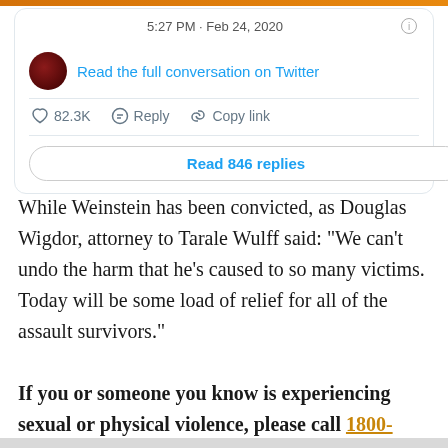[Figure (screenshot): Twitter/X embedded tweet card showing: timestamp '5:27 PM · Feb 24, 2020', a user avatar (dark red circle), link 'Read the full conversation on Twitter', engagement stats '82.3K Reply Copy link', and a button 'Read 846 replies']
While Weinstein has been convicted, as Douglas Wigdor, attorney to Tarale Wulff said: “We can’t undo the harm that he’s caused to so many victims. Today will be some load of relief for all of the assault survivors.”
If you or someone you know is experiencing sexual or physical violence, please call 1800-RESPECT, a